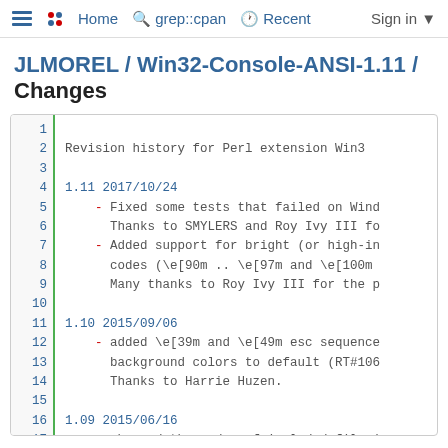≡  Home  grep::cpan  Recent  Sign in
JLMOREL / Win32-Console-ANSI-1.11 / Changes
Revision history for Perl extension Win3

1.11 2017/10/24
    - Fixed some tests that failed on Wind
      Thanks to SMYLERS and Roy Ivy III fo
    - Added support for bright (or high-in
      codes (\e[90m .. \e[97m and \e[100m
      Many thanks to Roy Ivy III for the p

1.10 2015/09/06
    - added \e[39m and \e[49m esc sequence
      background colors to default (RT#106
      Thanks to Harrie Huzen.

1.09 2015/06/16
    - changed the order of included file (
      Thanks to J. Mash.
    - Tests are now independent of the def
      (RT#105257 and RT#105260) Thanks to

1.08 2014/01/12